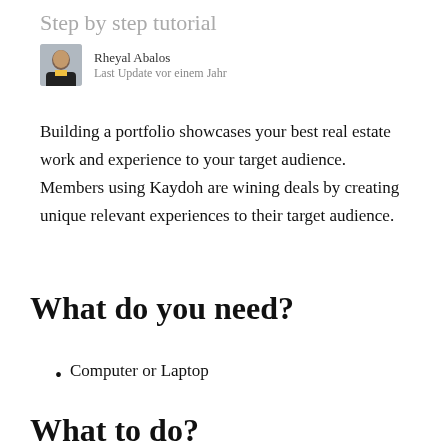Step by step tutorial
Rheyal Abalos
Last Update vor einem Jahr
Building a portfolio showcases your best real estate work and experience to your target audience.  Members using Kaydoh are wining deals by creating unique relevant experiences to their target audience.
What do you need?
Computer or Laptop
What to do?